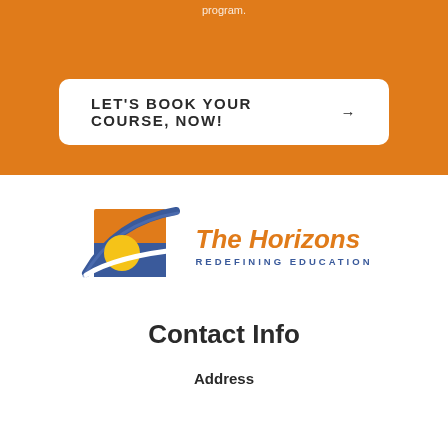program.
LET'S BOOK YOUR COURSE, NOW! →
[Figure (logo): The Horizons logo with sun and wave graphic, orange square background, blue wave, yellow sun circle. Text reads 'The Horizons' in orange italic bold and 'REDEFINING EDUCATION' in blue small caps below.]
Contact Info
Address